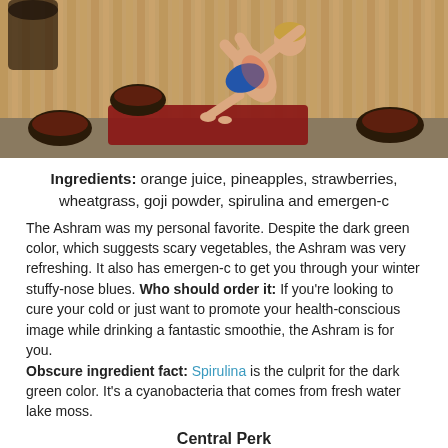[Figure (photo): Person performing a yoga balance pose in a studio with wooden wall backdrop, decorative bowls and a red/maroon yoga mat on the floor]
Ingredients: orange juice, pineapples, strawberries, wheatgrass, goji powder, spirulina and emergen-c
The Ashram was my personal favorite. Despite the dark green color, which suggests scary vegetables, the Ashram was very refreshing. It also has emergen-c to get you through your winter stuffy-nose blues. Who should order it: If you're looking to cure your cold or just want to promote your health-conscious image while drinking a fantastic smoothie, the Ashram is for you. Obscure ingredient fact: Spirulina is the culprit for the dark green color. It's a cyanobacteria that comes from fresh water lake moss.
Central Perk
[Figure (photo): Dark ambience photo, partially visible, appears to be a coffee shop or restaurant setting]